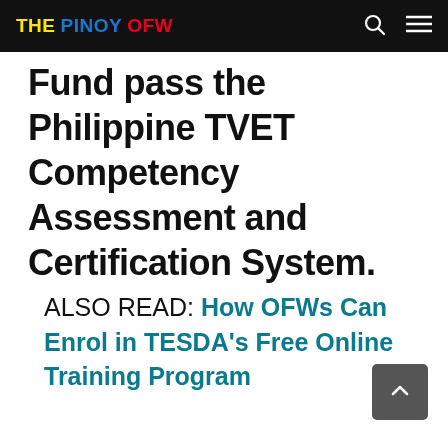THE PINOY OFW
Fund pass the Philippine TVET Competency Assessment and Certification System.
ALSO READ: How OFWs Can Enrol in TESDA's Free Online Training Program